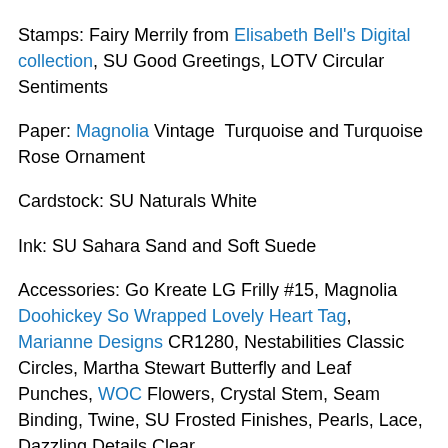Stamps: Fairy Merrily from Elisabeth Bell's Digital collection, SU Good Greetings, LOTV Circular Sentiments Paper: Magnolia Vintage Turquoise and Turquoise Rose Ornament Cardstock: SU Naturals White Ink: SU Sahara Sand and Soft Suede Accessories: Go Kreate LG Frilly #15, Magnolia Doohickey So Wrapped Lovely Heart Tag, Marianne Designs CR1280, Nestabilities Classic Circles, Martha Stewart Butterfly and Leaf Punches, WOC Flowers, Crystal Stem, Seam Binding, Twine, SU Frosted Finishes, Pearls, Lace, Dazzling Details Clear
I will enter this card into the following Challenges:
Dragonfly Dreams Favourite colour (Aqua)
Fairytale Stampers Flowers